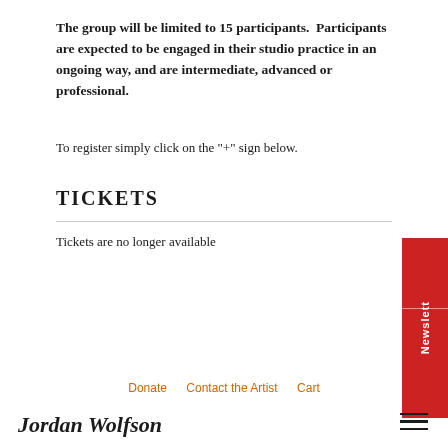The group will be limited to 15 participants. Participants are expected to be engaged in their studio practice in an ongoing way, and are intermediate, advanced or professional.
To register simply click on the "+" sign below.
TICKETS
Tickets are no longer available
Donate   Contact the Artist   Cart
Jordan Wolfson